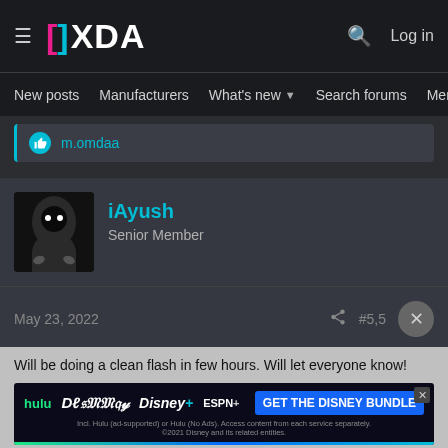XDA Developers
New posts  Manufacturers  What's new  Search forums  Members  >
m.omdaa
iAyush
Senior Member
May 23, 2022  #5,5
Will be doing a clean flash in few hours. Will let everyone know!
[Figure (screenshot): Disney Bundle advertisement banner showing Hulu, Disney+, and ESPN+ logos with GET THE DISNEY BUNDLE call to action. Fine print: Incl. Hulu (ad-supported) or Hulu (No Ads). Access content from each service separately. ©2021 Disney and its related entities.]